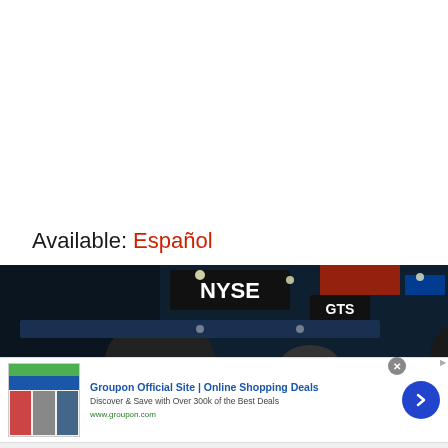Available: Español
[Figure (photo): NYSE trading floor interior showing the NYSE sign and GTS trading booth with screens and people]
[Figure (screenshot): Groupon advertisement banner: 'Groupon Official Site | Online Shopping Deals - Discover & Save with Over 300k of the Best Deals - www.groupon.com' with thumbnail images and a blue arrow button]